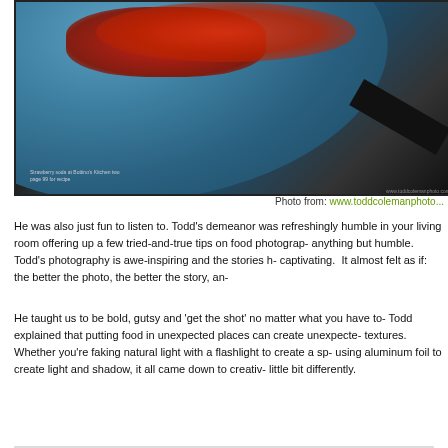[Figure (photo): Overhead food photography shot of a blue plate with red crumbled food topping, dark background, utensil visible at right edge]
Photo from: www.toddcolemanphoto...
He was also just fun to listen to. Todd's demeanor was refreshingly humble in your living room offering up a few tried-and-true tips on food photography, anything but humble.  Todd's photography is awe-inspiring and the stories he captivating.  It almost felt as if: the better the photo, the better the story, and...
He taught us to be bold, gutsy and 'get the shot' no matter what you have to... Todd explained that putting food in unexpected places can create unexpected textures. Whether you're faking natural light with a flashlight to create a sp- using aluminum foil to create light and shadow, it all came down to creativ- little bit differently.